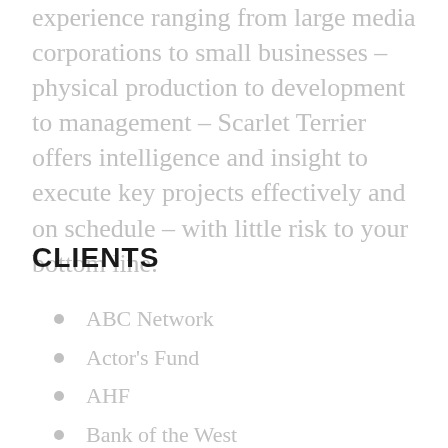experience ranging from large media corporations to small businesses – physical production to development to management – Scarlet Terrier offers intelligence and insight to execute key projects effectively and on schedule – with little risk to your bottom line.
CLIENTS
ABC Network
Actor's Fund
AHF
Bank of the West